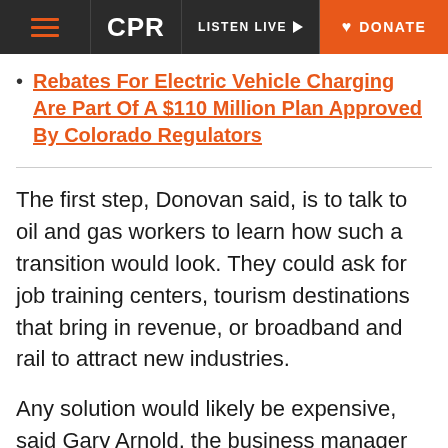CPR | LISTEN LIVE | DONATE
Rebates For Electric Vehicle Charging Are Part Of A $110 Million Plan Approved By Colorado Regulators
The first step, Donovan said, is to talk to oil and gas workers to learn how such a transition would look. They could ask for job training centers, tourism destinations that bring in revenue, or broadband and rail to attract new industries.
Any solution would likely be expensive, said Gary Arnold, the business manager for Denver Pipefitters Local 208, who also sits on the state's Air Quality Control Commission.